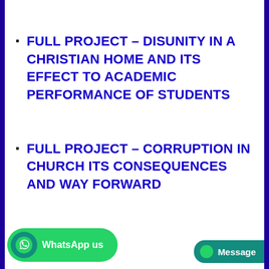FULL PROJECT – DISUNITY IN A CHRISTIAN HOME AND ITS EFFECT TO ACADEMIC PERFORMANCE OF STUDENTS
FULL PROJECT – CORRUPTION IN CHURCH ITS CONSEQUENCES AND WAY FORWARD
FULL PROJECT – COMPARISON OF ACADEMIC PERFORMANCE OF JUNIOR SECONDARY